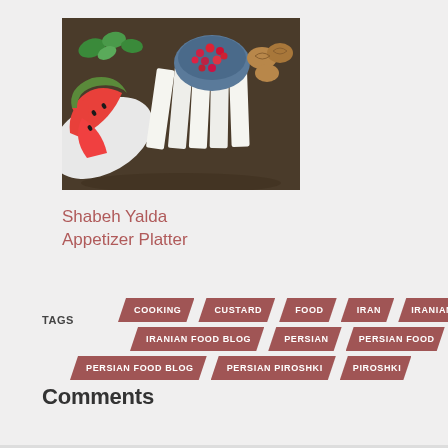[Figure (photo): A platter with sliced watermelon, white cheese, pomegranate seeds in a bowl, fresh herbs (mint), and walnuts — a Shabeh Yalda appetizer platter]
Shabeh Yalda Appetizer Platter
TAGS  COOKING  CUSTARD  FOOD  IRAN  IRANIAN FOOD  IRANIAN FOOD BLOG  PERSIAN  PERSIAN FOOD  PERSIAN FOOD BLOG  PERSIAN PIROSHKI  PIROSHKI
Comments